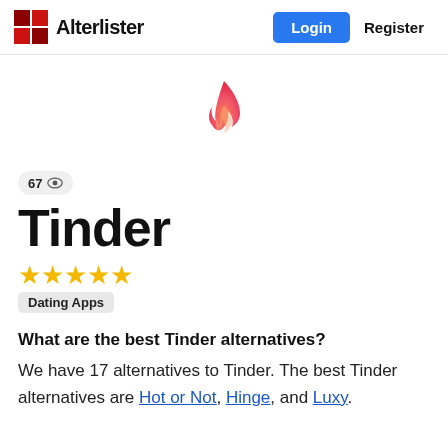Alterlister  Login  Register
[Figure (logo): Tinder flame logo - pink/red gradient flame icon centered on page]
67 👁
Tinder
★★★★★
Dating Apps
What are the best Tinder alternatives?
We have 17 alternatives to Tinder. The best Tinder alternatives are Hot or Not, Hinge, and Luxy.